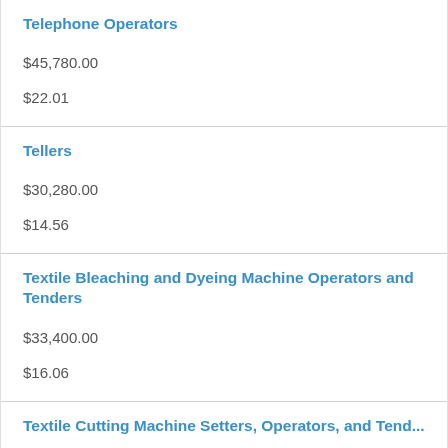Telephone Operators
$45,780.00
$22.01
Tellers
$30,280.00
$14.56
Textile Bleaching and Dyeing Machine Operators and Tenders
$33,400.00
$16.06
Textile Cutting Machine Setters, Operators, and Tenders